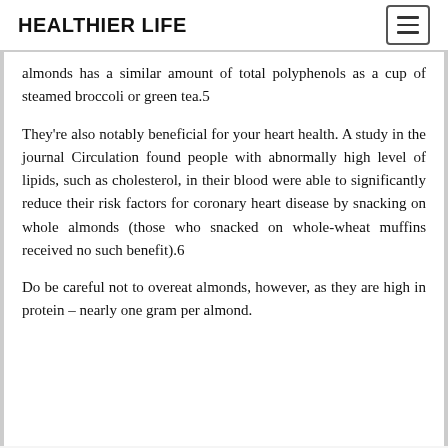HEALTHIER LIFE
almonds has a similar amount of total polyphenols as a cup of steamed broccoli or green tea.5
They're also notably beneficial for your heart health. A study in the journal Circulation found people with abnormally high level of lipids, such as cholesterol, in their blood were able to significantly reduce their risk factors for coronary heart disease by snacking on whole almonds (those who snacked on whole-wheat muffins received no such benefit).6
Do be careful not to overeat almonds, however, as they are high in protein – nearly one gram per almond.